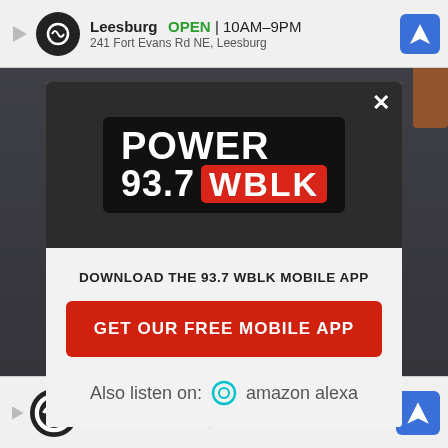[Figure (screenshot): Top advertisement bar showing Leesburg store, OPEN 10AM-9PM, 241 Fort Evans Rd NE, Leesburg with navigation icon]
[Figure (logo): Power 93.7 WBLK radio station logo on dark background inside modal popup]
DOWNLOAD THE 93.7 WBLK MOBILE APP
GET OUR FREE MOBILE APP
Also listen on: amazon alexa
[Figure (screenshot): Bottom advertisement bar showing Leesburg store, OPEN 10AM-9PM, 241 Fort Evans Rd NE, Leesb... with navigation icon]